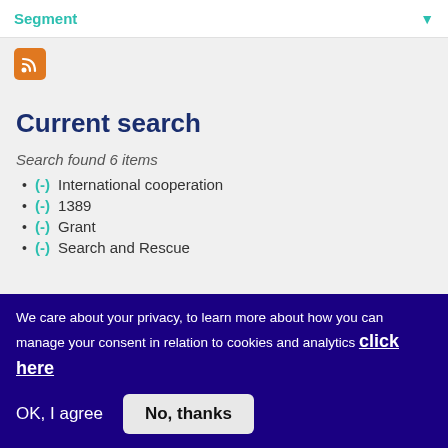Segment
[Figure (other): RSS feed icon — orange square with white RSS symbol]
Current search
Search found 6 items
(-) International cooperation
(-) 1389
(-) Grant
(-) Search and Rescue
We care about your privacy, to learn more about how you can manage your consent in relation to cookies and analytics click here
OK, I agree   No, thanks